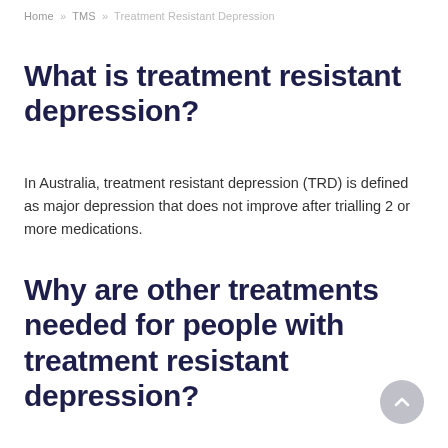Home » TMS » Treatment Resistant Depression
What is treatment resistant depression?
In Australia, treatment resistant depression (TRD) is defined as major depression that does not improve after trialling 2 or more medications.
Why are other treatments needed for people with treatment resistant depression?